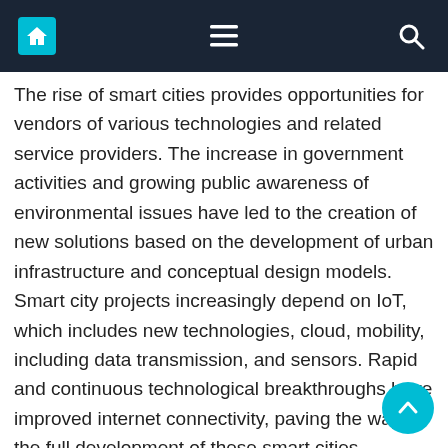Navigation bar with home, menu, and search icons
The rise of smart cities provides opportunities for vendors of various technologies and related service providers. The increase in government activities and growing public awareness of environmental issues have led to the creation of new solutions based on the development of urban infrastructure and conceptual design models. Smart city projects increasingly depend on IoT, which includes new technologies, cloud, mobility, including data transmission, and sensors. Rapid and continuous technological breakthroughs have improved internet connectivity, paving the way for the full development of these smart cities.
Marketing Restriction Factor:
Data and Privacy Risks
For businesses, maintaining the security and privacy of